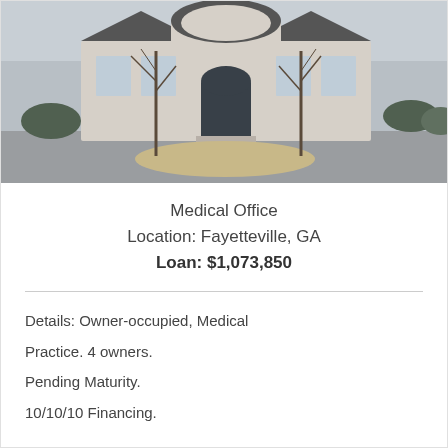[Figure (photo): Exterior photo of a medical office building in Fayetteville, GA. A white/cream colored building with an arched entrance, flanked by bare trees, with a circular landscaped island in the parking lot foreground.]
Medical Office
Location: Fayetteville, GA
Loan: $1,073,850
Details: Owner-occupied, Medical Practice. 4 owners.
Pending Maturity.
10/10/10 Financing.